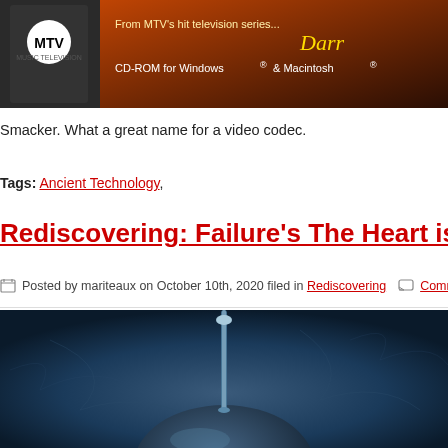[Figure (photo): CD-ROM product image with MTV logo, text reading 'From MTV's hit television series... Darr' and 'CD-ROM for Windows & Macintosh']
Smacker. What a great name for a video codec.
Tags: Ancient Technology,
Rediscovering: Failure's The Heart is a Monster
Posted by mariteaux on October 10th, 2020 filed in Rediscovering   Comment now »
[Figure (photo): Dark blue textured surface with a narrow column/spindle shape in center — likely album artwork for Failure's The Heart is a Monster]